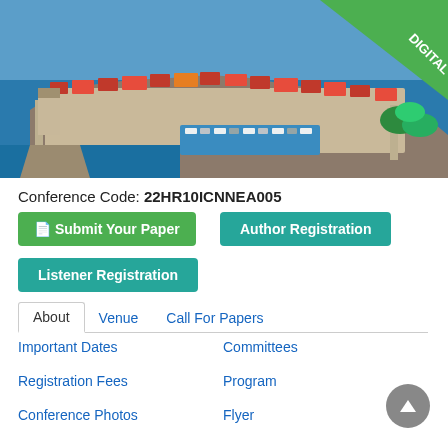[Figure (photo): Aerial view of Dubrovnik, Croatia, showing the old town with red-roofed buildings surrounded by sea walls and a marina with boats. A green 'DIGITAL' banner badge is in the top-right corner.]
Conference Code: 22HR10ICNNEA005
Submit Your Paper
Author Registration
Listener Registration
About
Venue
Call For Papers
Important Dates
Committees
Registration Fees
Program
Conference Photos
Flyer